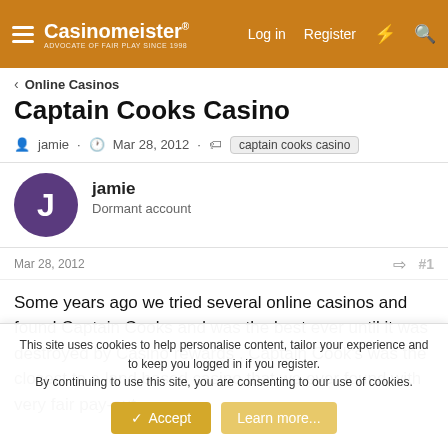Casinomeister® | Log in | Register
Online Casinos
Captain Cooks Casino
jamie · Mar 28, 2012 · captain cooks casino
jamie
Dormant account
Mar 28, 2012  #1
Some years ago we tried several online casinos and found Captain Cooks and was the best ever until it was destroyed by Casino rewards . Captain Cook's was the closest to a land based casino that we ever found with very fair pay-out
This site uses cookies to help personalise content, tailor your experience and to keep you logged in if you register.
By continuing to use this site, you are consenting to our use of cookies.
Accept  Learn more...